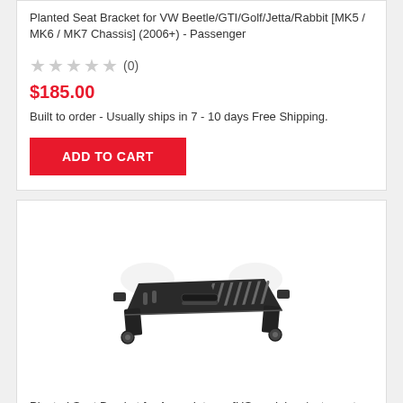Planted Seat Bracket for VW Beetle/GTI/Golf/Jetta/Rabbit [MK5 / MK6 / MK7 Chassis] (2006+) - Passenger
★★★★★ (0)
$185.00
Built to order - Usually ships in 7 - 10 days Free Shipping.
ADD TO CART
[Figure (photo): Photo of a Planted seat bracket - a metal bracket with slots and mounting tabs, black finish, shown from an angle]
Planted Seat Bracket for Acura Integra [US models w/auto seat belt retractor] (1990-1993) - Driver